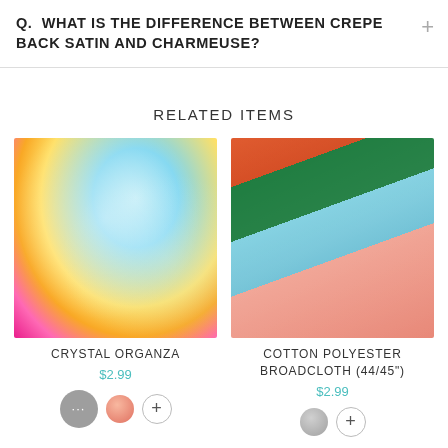Q.  WHAT IS THE DIFFERENCE BETWEEN CREPE BACK SATIN AND CHARMEUSE?
RELATED ITEMS
[Figure (photo): Close-up photo of colorful satin/organza fabric swirls in blue, yellow, and hot pink colors]
CRYSTAL ORGANZA
$2.99
[Figure (photo): Layered fabric sheets in green, orange/red, light blue, and pink/peach colors fanned out]
COTTON POLYESTER BROADCLOTH (44/45")
$2.99